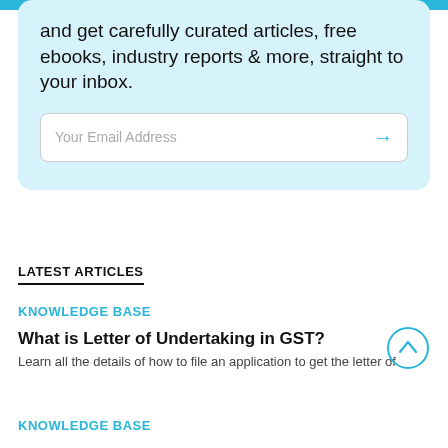and get carefully curated articles, free ebooks, industry reports & more, straight to your inbox.
Your Email Address
LATEST ARTICLES
KNOWLEDGE BASE
What is Letter of Undertaking in GST?
Learn all the details of how to file an application to get the letter of
KNOWLEDGE BASE